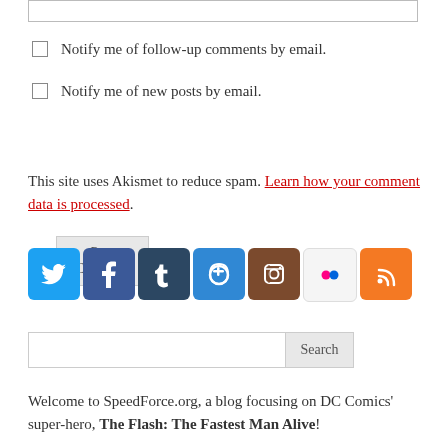Notify me of follow-up comments by email.
Notify me of new posts by email.
Post Comment
This site uses Akismet to reduce spam. Learn how your comment data is processed.
[Figure (infographic): Row of social media icon buttons: Twitter (blue bird), Facebook (blue f), Tumblr (dark blue t), Mastodon (blue elephant), Instagram (brown camera), Flickr (white with colored dots), RSS (orange feed icon)]
Search
Welcome to SpeedForce.org, a blog focusing on DC Comics' super-hero, The Flash: The Fastest Man Alive!